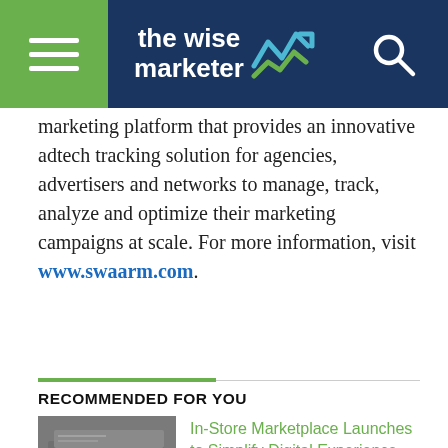the wise marketer
marketing platform that provides an innovative adtech tracking solution for agencies, advertisers and networks to manage, track, analyze and optimize their marketing campaigns at scale. For more information, visit www.swaarm.com.
RECOMMENDED FOR YOU
[Figure (photo): Stack of newspapers, grayscale photo]
In-Store Marketplace Launches to Simplify Digital Experience for Retail Media Owners
[Figure (photo): Person holding a newspaper, grayscale photo]
Loylogic and Nescafé Dolce Gusto Enter Latin America With New Rewards Program Club, Continuing Global Expansion